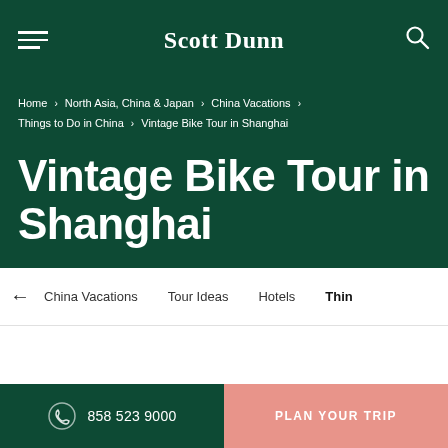Scott Dunn
Home > North Asia, China & Japan > China Vacations > Things to Do in China > Vintage Bike Tour in Shanghai
Vintage Bike Tour in Shanghai
← China Vacations   Tour Ideas   Hotels   Thin
858 523 9000   PLAN YOUR TRIP